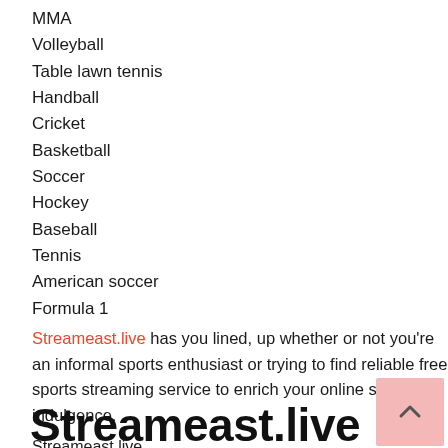MMA
Volleyball
Table lawn tennis
Handball
Cricket
Basketball
Soccer
Hockey
Baseball
Tennis
American soccer
Formula 1
Streameast.live has you lined, up whether or not you're an informal sports enthusiast or trying to find reliable free sports streaming service to enrich your online sports indulgence.
Streameast.live
Streameast.live